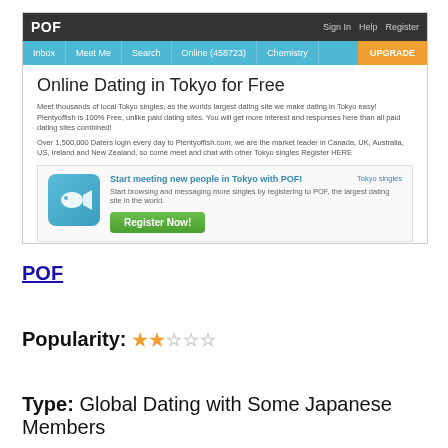[Figure (screenshot): Screenshot of PlentyOfFish (POF) dating website showing 'Online Dating in Tokyo for Free' page with navigation bar, descriptive text, and a registration call-to-action box with a fish logo icon, 'Start meeting new people in Tokyo with POF!' heading, and 'Register Now!' green button.]
POF
Popularity: ★★☆☆☆
Type: Global Dating with Some Japanese Members